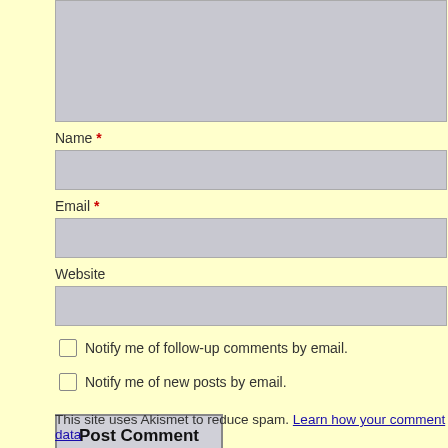Name *
Email *
Website
Notify me of follow-up comments by email.
Notify me of new posts by email.
Post Comment
This site uses Akismet to reduce spam. Learn how your comment data